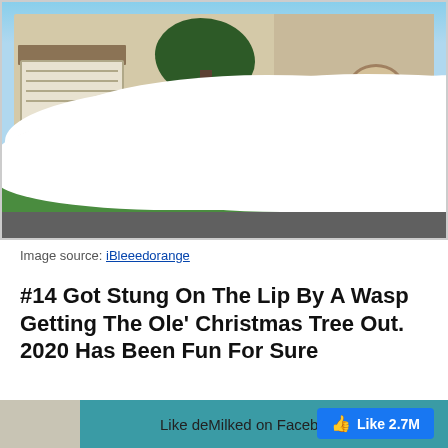[Figure (photo): Outdoor photo of a suburban house with large white foam covering the front lawn and spilling onto the street. A tree is visible in the center, and the house has stone accents and a two-car garage.]
Image source: iBleeedorange
#14 Got Stung On The Lip By A Wasp Getting The Ole' Christmas Tree Out. 2020 Has Been Fun For Sure
Like deMilked on Facebook  Like 2.7M